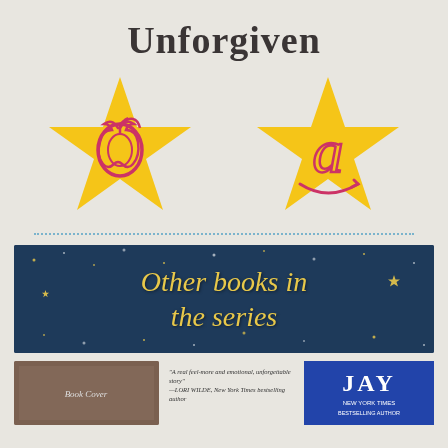Unforgiven
[Figure (illustration): Two gold stars side by side, each containing a retail logo — the left star has an Apple (iTunes/Apple Books) logo in pink/red outline, the right star has an Amazon 'a' logo in pink/red outline]
[Figure (illustration): Dark blue night sky banner with gold stars scattered throughout, reading 'Other books in the series' in gold italic serif text]
[Figure (illustration): Bottom row showing three panels: a book cover thumbnail, a small italic quote text, and a blue JAY/New York Times banner]